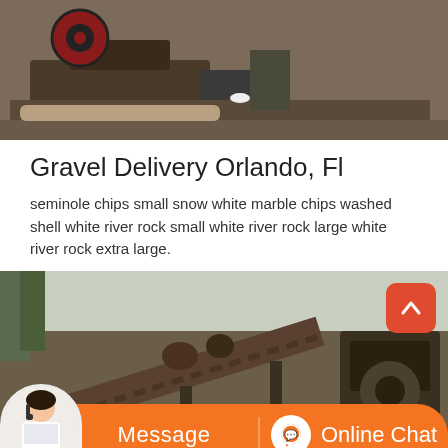[Figure (photo): Top portion of industrial gravel crushing/processing machinery with red wheel, outdoors]
Gravel Delivery Orlando, Fl
seminole chips small snow white marble chips washed shell white river rock small white river rock large white river rock extra large.
[Figure (photo): Industrial gravel processing conveyor belt machinery outdoors among trees]